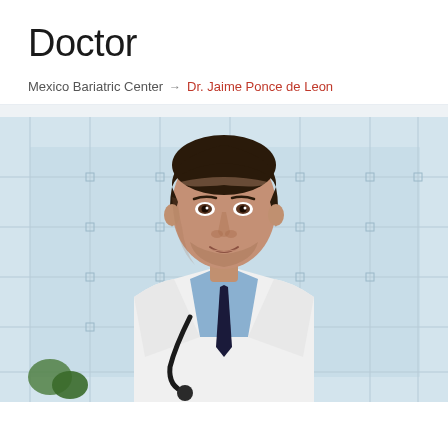Doctor
Mexico Bariatric Center → Dr. Jaime Ponce de Leon
[Figure (photo): Portrait photo of Dr. Jaime Ponce de Leon, a middle-aged male doctor wearing a white lab coat, blue shirt, dark tie, and stethoscope around his neck. He is smiling slightly and standing in front of a modern glass building background.]